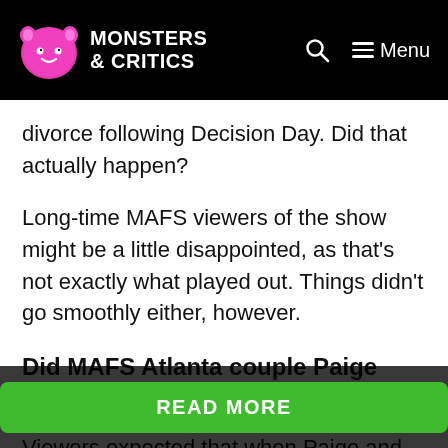MONSTERS & CRITICS — Menu
divorce following Decision Day. Did that actually happen?
Long-time MAFS viewers of the show might be a little disappointed, as that's not exactly what played out. Things didn't go smoothly either, however.
Did MAFS Atlanta couple Paige and Chris get divorced?
Viewers expected that when Paige and Chris turned up... turn him down and walk... ause of
READ MORE